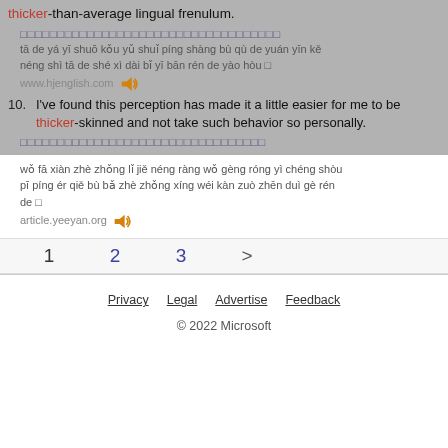thicker-than-average lingual frenulum.
（中文字符）
tā de yá yī shuō kǒu yǔ shuǐ píng shàng bù qù de yuán yīn kě néng shì tā de shé xì dài bǐ yī bān rén de yào hòu □
www.hjenglish.com
10. I've found this perception has made it a little easier for me to be thicker-skinned and not take such behavior so personally.
（中文字符）
wǒ fā xiàn zhè zhǒng lǐ jiě néng ràng wǒ gèng róng yì chéng shòu pī píng ér qiě bù bǎ zhè zhǒng xíng wéi kàn zuò zhēn duì gè rén de □
article.yeeyan.org
1  2  3  >
Privacy  Legal  Advertise  Feedback  © 2022 Microsoft